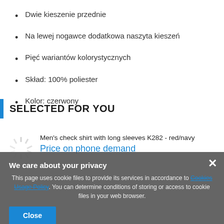Dwie kieszenie przednie
Na lewej nogawce dodatkowa naszyta kieszeń
Pięć wariantów kolorystycznych
Skład: 100% poliester
Kolor: czerwony
SELECTED FOR YOU
Men's check shirt with long sleeves K282 - red/navy
Price on phone demand
We care about your privacy
This page uses cookie files to provide its services in accordance to Cookies Usage Policy. You can determine conditions of storing or access to cookie files in your web browser.